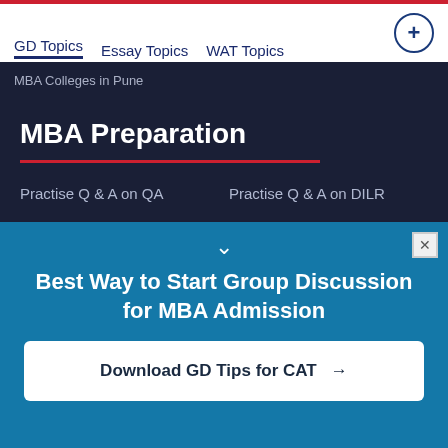GD Topics  Essay Topics  WAT Topics
MBA Colleges in Pune
MBA Preparation
Practise Q & A on QA
Practise Q & A on DILR
Reading Comprehension
Grammar
Mock Tests
GD Topics
PI Tips
WAT Topics
General Awareness Topics
Latest Articles
Best Way to Start Group Discussion for MBA Admission
Download GD Tips for CAT →